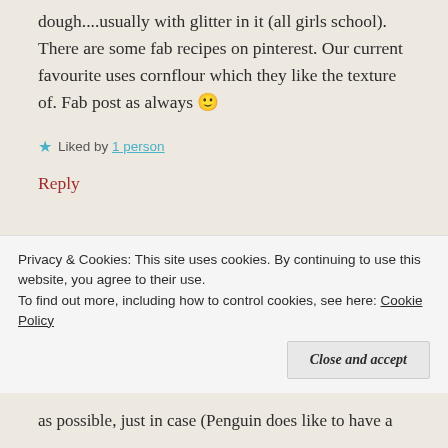dough....usually with glitter in it (all girls school). There are some fab recipes on pinterest. Our current favourite uses cornflour which they like the texture of. Fab post as always 🙂
Liked by 1 person
Reply
sensationallearning   February 20, 2018 at
Privacy & Cookies: This site uses cookies. By continuing to use this website, you agree to their use.
To find out more, including how to control cookies, see here: Cookie Policy
Close and accept
as possible, just in case (Penguin does like to have a